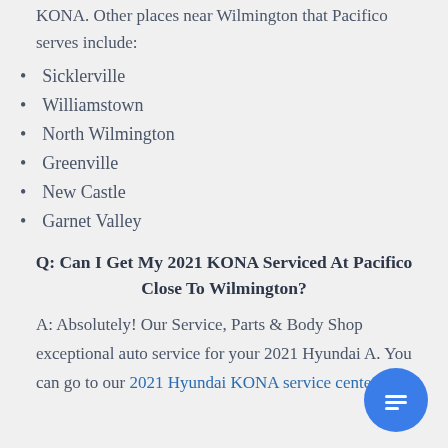KONA. Other places near Wilmington that Pacifico serves include:
Sicklerville
Williamstown
North Wilmington
Greenville
New Castle
Garnet Valley
Q: Can I Get My 2021 KONA Serviced At Pacifico Close To Wilmington?
A: Absolutely! Our Service, Parts & Body Shop exceptional auto service for your 2021 Hyundai A. You can go to our 2021 Hyundai KONA service center